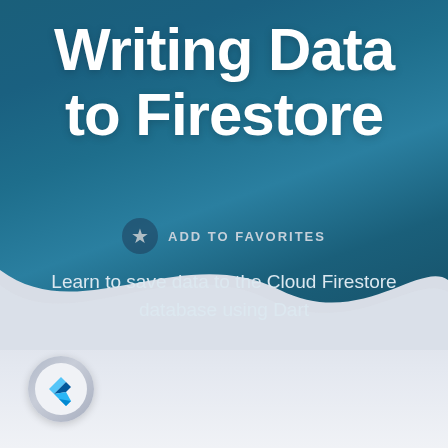Writing Data to Firestore
ADD TO FAVORITES
Learn to save data to the Cloud Firestore database using Dart
[Figure (logo): Flutter logo in a circular badge at the bottom left]